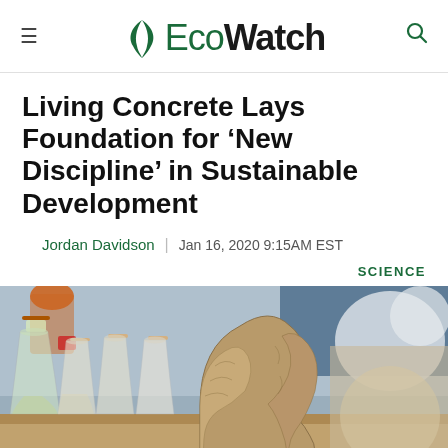EcoWatch
Living Concrete Lays Foundation for ‘New Discipline’ in Sustainable Development
Jordan Davidson  |  Jan 16, 2020 9:15AM EST
SCIENCE
[Figure (photo): Laboratory setting with glass Erlenmeyer flasks with cork stoppers on a table, and a wavy sculptural form made of sandy/textured material in the foreground, with blurred lab equipment in the background.]